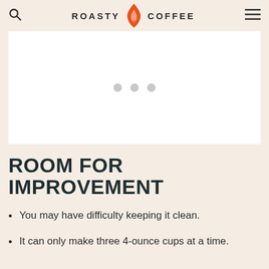ROASTY COFFEE
[Figure (other): White image placeholder with three gray dots in the center, representing a loading or empty image carousel]
ROOM FOR IMPROVEMENT
You may have difficulty keeping it clean.
It can only make three 4-ounce cups at a time.